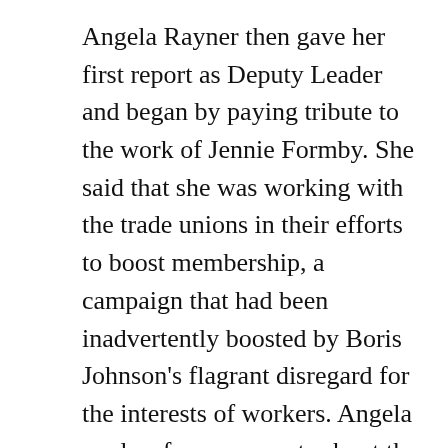Angela Rayner then gave her first report as Deputy Leader and began by paying tribute to the work of Jennie Formby. She said that she was working with the trade unions in their efforts to boost membership, a campaign that had been inadvertently boosted by Boris Johnson's flagrant disregard for the interests of workers. Angela made a few comments about the enquiry into the leaked report, saying in particular that the standards expected of staff needed to be absolutely clear in the future and that she hoped and expected that the issue of the misuse of finances in relation to parliamentary seats was properly examined, along with the other matters that had come to light. She acknowledged that there had been